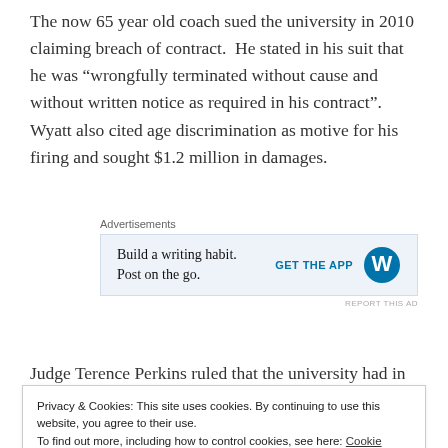The now 65 year old coach sued the university in 2010 claiming breach of contract. He stated in his suit that he was “wrongfully terminated without cause and without written notice as required in his contract”. Wyatt also cited age discrimination as motive for his firing and sought $1.2 million in damages.
[Figure (other): Advertisement banner: 'Build a writing habit. Post on the go.' with GET THE APP button and WordPress logo]
Judge Terence Perkins ruled that the university had in
Privacy & Cookies: This site uses cookies. By continuing to use this website, you agree to their use. To find out more, including how to control cookies, see here: Cookie Policy
have paid him had he not been wrongfully terminated.